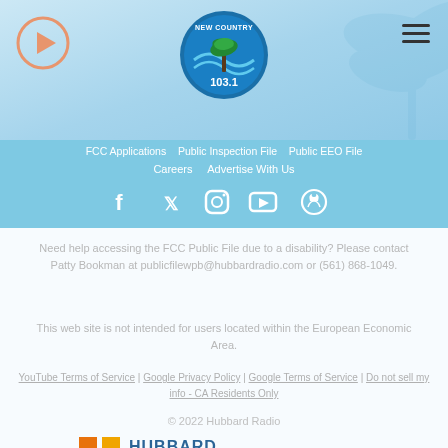[Figure (logo): New Country 103.1 radio station logo with play button and hamburger menu]
FCC Applications  Public Inspection File  Public EEO File  Careers  Advertise With Us
[Figure (illustration): Social media icons: Facebook, Twitter, Instagram, YouTube, GitHub]
Need help accessing the FCC Public File due to a disability? Please contact Patty Bookman at publicfilewpb@hubbardradio.com or (561) 868-1049.
This web site is not intended for users located within the European Economic Area.
YouTube Terms of Service | Google Privacy Policy | Google Terms of Service | Do not sell my info - CA Residents Only
© 2022 Hubbard Radio
[Figure (logo): Hubbard Radio logo (partial, bottom of page)]